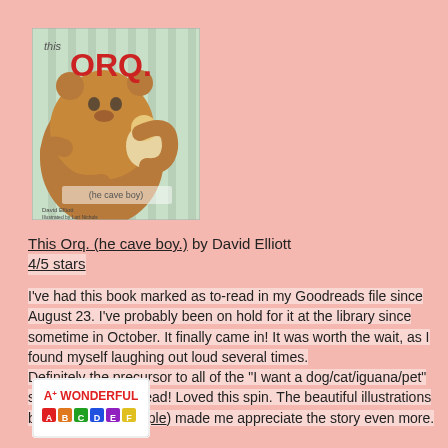[Figure (photo): Book cover of 'This Orq. (he cave boy.)' showing a large brown fuzzy creature (cave boy) hugging a smaller character, with red title text]
This Orq. (he cave boy.) by David Elliott
4/5 stars
I've had this book marked as to-read in my Goodreads file since August 23.  I've probably been on hold for it at the library since sometime in October.  It finally came in!  It was worth the wait, as I found myself laughing out loud several times.
Definitely the precursor to all of the "I want a dog/cat/iguana/pet" stories that we've read!  Loved this spin.  The beautiful illustrations by Lori Nichols (Maple) made me appreciate the story even more.
[Figure (photo): Partial book cover or badge showing 'A+ Wonderful' text with colorful letters/characters at the bottom of the page]